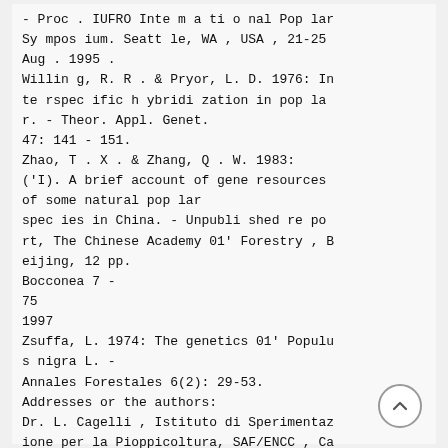- Proc . IUFRO Inte m a ti o nal Pop lar Sy mpos ium. Seatt le, WA , USA , 21-25 Aug . 1995 .
Willin g, R. R . & Pryor, L. D. 1976: In te rspec ific h ybridi zation in pop la r. - Theor. Appl. Genet.
47: 141 - 151.
Zhao, T . X . & Zhang, Q . W. 1983: ('I). A brief account of gene resources of some natural pop lar spec ies in China. - Unpubli shed re po rt, The Chinese Academy 01' Forestry , B eijing, 12 pp.
Bocconea 7 -
75
1997
Zsuffa, L. 1974: The genetics 01' Populu s nigra L. -
Annales Forestales 6(2): 29-53.
Addresses or the authors:
Dr. L. Cagelli , Istituto di Sperimentaz ione per la Pioppicoltura, SAF/ENCC , Ca sale
M.to, Italy.